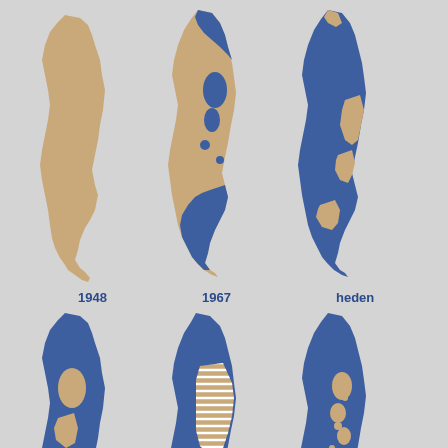[Figure (map): Six maps of historical Palestine/Israel showing territorial changes. Top row (no labels): three maps showing land in tan/beige (Palestinian land) and blue (Israeli/Jewish land) at three time periods. Bottom row labeled 1948, 1967, heden (today): three maps showing the inverse perspective with blue dominant and tan showing remaining Palestinian areas. The 1967 map shows a striped/hatched pattern in the West Bank area.]